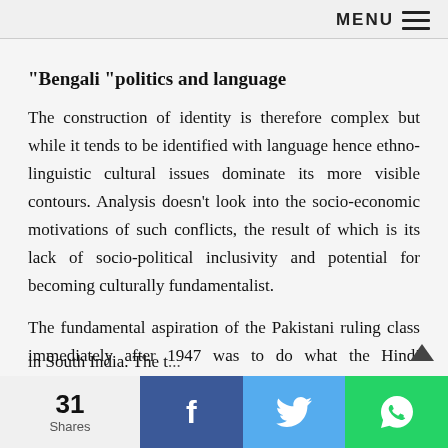MENU ≡
"Bengali "politics and language
The construction of identity is therefore complex but while it tends to be identified with language hence ethno-linguistic cultural issues dominate its more visible contours. Analysis doesn't look into the socio-economic motivations of such conflicts, the result of which is its lack of socio-political inclusivity and potential for becoming culturally fundamentalist.
The fundamental aspiration of the Pakistani ruling class immediately after 1947 was to do what the Hindi activists had done in UP against Urdu and also Tamil in South India. The t...
31 Shares  f  🐦  WhatsApp